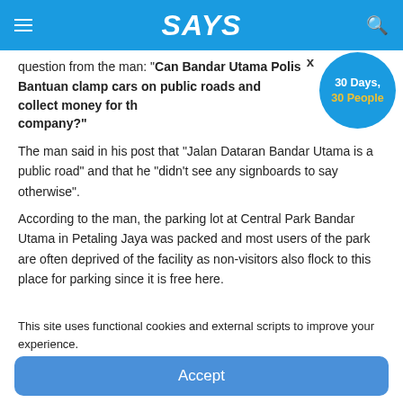SAYS
question from the man: "Can Bandar Utama Polis Bantuan clamp cars on public roads and collect money for the company?"
The man said in his post that "Jalan Dataran Bandar Utama is a public road" and that he "didn't see any signboards to say otherwise".
According to the man, the parking lot at Central Park Bandar Utama in Petaling Jaya was packed and most users of the park are often deprived of the facility as non-visitors also flock to this place for parking since it is free here.
This site uses functional cookies and external scripts to improve your experience.
Accept